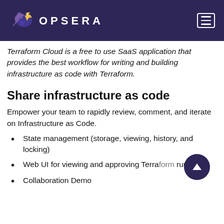OPSERA
Terraform Cloud is a free to use SaaS application that provides the best workflow for writing and building infrastructure as code with Terraform.
Share infrastructure as code
Empower your team to rapidly review, comment, and iterate on Infrastructure as Code.
State management (storage, viewing, history, and locking)
Web UI for viewing and approving Terraform runs
Collaboration Demo